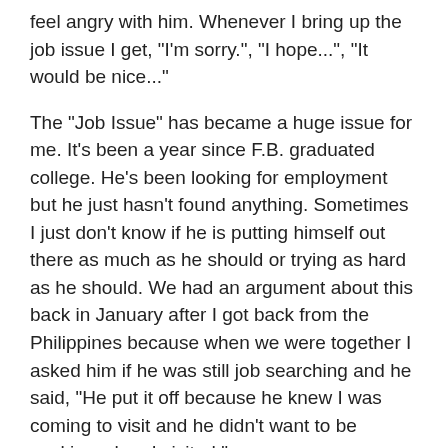feel angry with him. Whenever I bring up the job issue I get, "I'm sorry.", "I hope...", "It would be nice..."
The "Job Issue" has became a huge issue for me. It's been a year since F.B. graduated college. He's been looking for employment but he just hasn't found anything. Sometimes I just don't know if he is putting himself out there as much as he should or trying as hard as he should. We had an argument about this back in January after I got back from the Philippines because when we were together I asked him if he was still job searching and he said, "He put it off because he knew I was coming to visit and he didn't want to be working when I visited."
We disagree sometimes because we have different points of views and experiences. I've gotten up for 6 years and gone to a job I dislike... but I do it because the money there allows me to travel yearly, to save money for my future and it's also worth it because I have 3-4 months off out of the year. (I work for the Dept of the Treasury).
F.B. wants to find the perfect job. And I try to explain to him